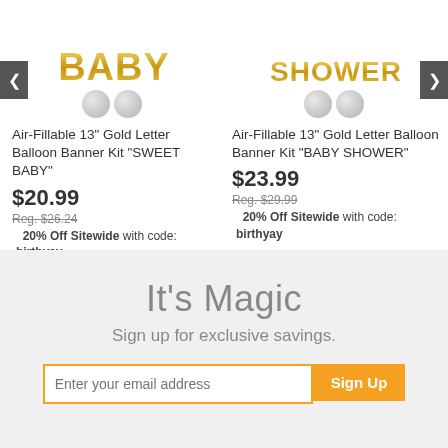[Figure (photo): Gold foil letter balloon banner spelling 'BABY' with white pearl balloons, product image for Sweet Baby banner kit]
Air-Fillable 13" Gold Letter Balloon Banner Kit "SWEET BABY"
$20.99
Reg. $26.24
20% Off Sitewide with code: birthyay
Add to Cart
[Figure (photo): Gold foil letter balloon banner spelling 'SHOWER' with white pearl balloons, product image for Baby Shower banner kit]
Air-Fillable 13" Gold Letter Balloon Banner Kit "BABY SHOWER"
$23.99
Reg. $29.99
20% Off Sitewide with code: birthyay
Add to Cart
It's Magic
Sign up for exclusive savings.
Enter your email address
Sign Up